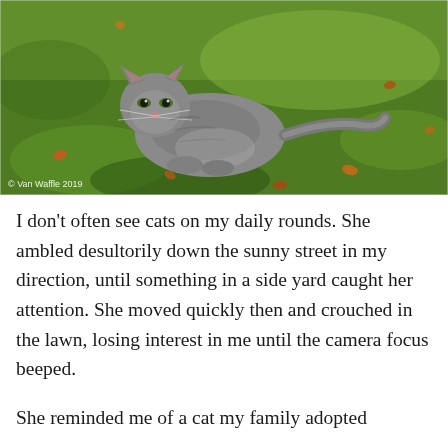[Figure (photo): A long-haired grey tabby cat lying on green grass with autumn leaves scattered around. The cat faces the camera from a slight angle. Photo credit: © Van Waffle 2019.]
I don't often see cats on my daily rounds. She ambled desultorily down the sunny street in my direction, until something in a side yard caught her attention. She moved quickly then and crouched in the lawn, losing interest in me until the camera focus beeped.
She reminded me of a cat my family adopted